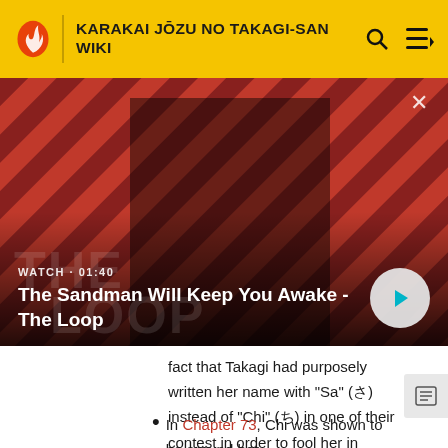KARAKAI JŌZU NO TAKAGI-SAN WIKI
[Figure (screenshot): Video thumbnail showing a dark-clad figure with a raven on shoulder against a red diagonal striped background. Text overlay: WATCH · 01:40 | The Sandman Will Keep You Awake - The Loop. Play button visible bottom right.]
fact that Takagi had purposely written her name with "Sa" (さ) instead of "Chi" (ち) in one of their contest in order to fool her in chapter 77 of Karakai Jouzu no (Moto) Takagi-san.
In Chapter 73, Chi was shown to be around her